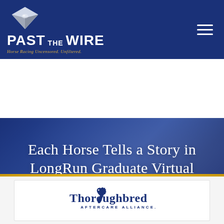Past The Wire — Horse Racing Uncensored. Unfiltered.
Each Horse Tells a Story in LongRun Graduate Virtual Race to The Plate
— July 28, 2021 —
[Figure (logo): Thoroughbred Aftercare Alliance sponsor logo]